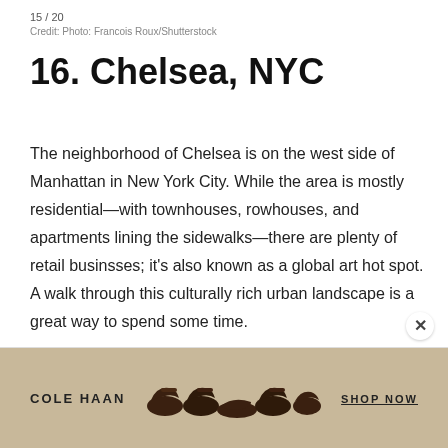15 / 20
Credit: Photo: Francois Roux/Shutterstock
16. Chelsea, NYC
The neighborhood of Chelsea is on the west side of Manhattan in New York City. While the area is mostly residential—with townhouses, rowhouses, and apartments lining the sidewalks—there are plenty of retail businsses; it's also known as a global art hot spot. A walk through this culturally rich urban landscape is a great way to spend some time.
[Figure (infographic): Cole Haan advertisement banner with shoes and 'SHOP NOW' text on a tan/beige background]